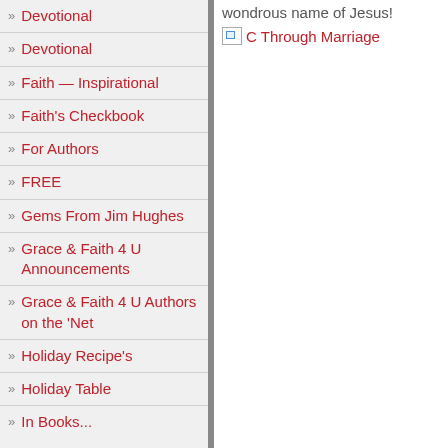Devotional
Devotional
Faith — Inspirational
Faith's Checkbook
For Authors
FREE
Gems From Jim Hughes
Grace & Faith 4 U Announcements
Grace & Faith 4 U Authors on the 'Net
Holiday Recipe's
Holiday Table
In Books...
wondrous name of Jesus!
[Figure (other): Broken image placeholder labeled 'C Through Marriage']